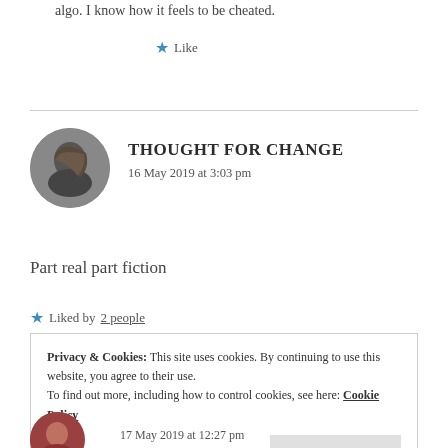algo. I know how it feels to be cheated.
★ Like
THOUGHT FOR CHANGE
16 May 2019 at 3:03 pm
Part real part fiction
★ Liked by 2 people
Privacy & Cookies: This site uses cookies. By continuing to use this website, you agree to their use.
To find out more, including how to control cookies, see here: Cookie Policy
Close and accept
17 May 2019 at 12:27 pm